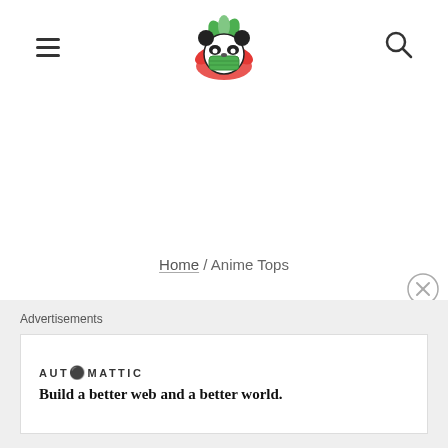Navigation header with hamburger menu, panda logo, and search icon
Home / Anime Tops
Anime Tops
Advertisements
AUTOMATTIC
Build a better web and a better world.